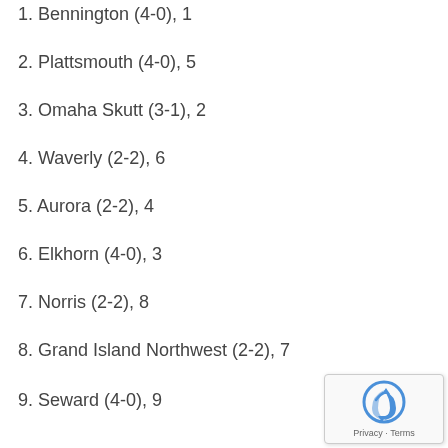1. Bennington (4-0), 1
2. Plattsmouth (4-0), 5
3. Omaha Skutt (3-1), 2
4. Waverly (2-2), 6
5. Aurora (2-2), 4
6. Elkhorn (4-0), 3
7. Norris (2-2), 8
8. Grand Island Northwest (2-2), 7
9. Seward (4-0), 9